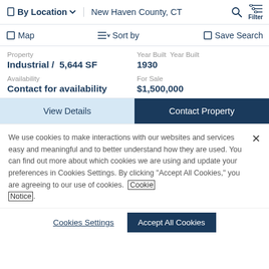By Location  New Haven County, CT  Filter
Map  Sort by  Save Search
Property Industrial / 5,644 SF  Year Built Year Built 1930
Availability Contact for availability  For Sale $1,500,000
View Details  Contact Property
We use cookies to make interactions with our websites and services easy and meaningful and to better understand how they are used. You can find out more about which cookies we are using and update your preferences in Cookies Settings. By clicking "Accept All Cookies," you are agreeing to our use of cookies. Cookie Notice
Cookies Settings  Accept All Cookies